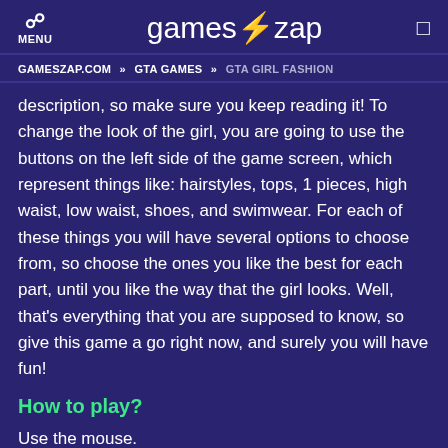☰ MENU | gameszap | 🔍
GAMESZAP.COM » GTA GAMES » GTA GIRL FASHION
description, so make sure you keep reading it! To change the look of the girl, you are going to use the buttons on the left side of the game screen, which represent things like: hairstyles, tops, 1 pieces, high waist, low waist, shoes, and swimwear. For each of these things you will have several options to choose from, so choose the ones you like the best for each part, until you like the way that the girl looks. Well, that's everything that you are supposed to know, so give this game a go right now, and surely you will have fun!
How to play?
Use the mouse.